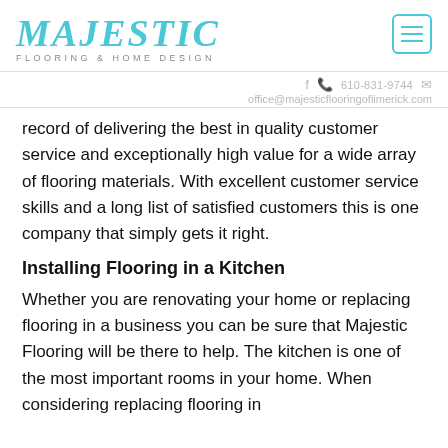MAJESTIC FLOORING & HOME DESIGN
f  610-831-9744  ✉
office@majesticflooringoflimerick.com
record of delivering the best in quality customer service and exceptionally high value for a wide array of flooring materials. With excellent customer service skills and a long list of satisfied customers this is one company that simply gets it right.
Installing Flooring in a Kitchen
Whether you are renovating your home or replacing flooring in a business you can be sure that Majestic Flooring will be there to help. The kitchen is one of the most important rooms in your home. When considering replacing flooring in